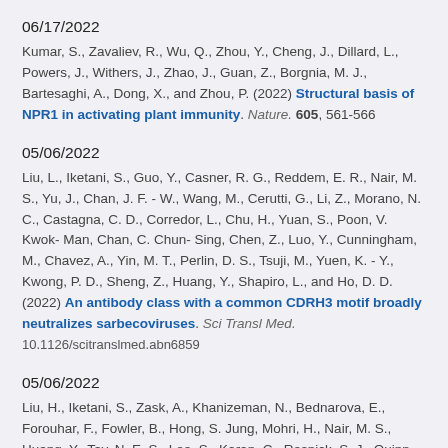06/17/2022
Kumar, S., Zavaliev, R., Wu, Q., Zhou, Y., Cheng, J., Dillard, L., Powers, J., Withers, J., Zhao, J., Guan, Z., Borgnia, M. J., Bartesaghi, A., Dong, X., and Zhou, P. (2022) Structural basis of NPR1 in activating plant immunity. Nature. 605, 561-566
05/06/2022
Liu, L., Iketani, S., Guo, Y., Casner, R. G., Reddem, E. R., Nair, M. S., Yu, J., Chan, J. F. - W., Wang, M., Cerutti, G., Li, Z., Morano, N. C., Castagna, C. D., Corredor, L., Chu, H., Yuan, S., Poon, V. Kwok-Man, Chan, C. Chun-Sing, Chen, Z., Luo, Y., Cunningham, M., Chavez, A., Yin, M. T., Perlin, D. S., Tsuji, M., Yuen, K. - Y., Kwong, P. D., Sheng, Z., Huang, Y., Shapiro, L., and Ho, D. D. (2022) An antibody class with a common CDRH3 motif broadly neutralizes sarbecoviruses. Sci Transl Med. 10.1126/scitranslmed.abn6859
05/06/2022
Liu, H., Iketani, S., Zask, A., Khanizeman, N., Bednarova, E., Forouhar, F., Fowler, B., Hong, S. Jung, Mohri, H., Nair, M. S., Huang, Y., Tay, N. E. S., Lee, S., Karan, C., Resnick, S. J., Quinn, C., Li, W., Shion, H., Xia, X.,